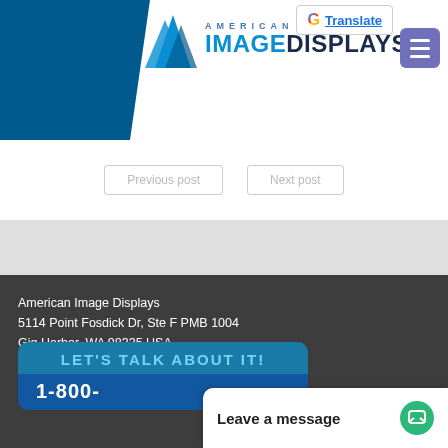American Image Displays — website header with logo and Google Translate button
[Figure (logo): American Image Displays logo with blue triangle mountain icon and company name]
Previous post | Next post
American Image Displays
5114 Point Fosdick Dr, Ste F PMB 1004
Gig Harbor, WA 98335 USA
Monday-Friday, 8:00am – 4:00pm PST
Providing Trade Show Displays since 1983
[Figure (infographic): LET'S TALK ABOUT IT! call-to-action banner with phone number 1-800- and teal color scheme]
Leave a message